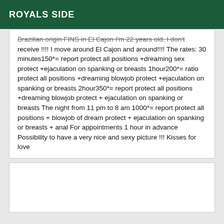ROYALS SIDE
Brazilian origin FINS in El Cajon I'm 22 years old. I don't receive !!!! I move around El Cajon and around!!!! The rates: 30 minutes150*= report protect all positions +dreaming sex protect +ejaculation on spanking or breasts 1hour200*= ratio protect all positions +dreaming blowjob protect +ejaculation on spanking or breasts 2hour350*= report protect all positions +dreaming blowjob protect + ejaculation on spanking or breasts The night from 11 pm to 8 am 1000*= report protect all positions + blowjob of dream protect + ejaculation on spanking or breasts + anal For appointments 1 hour in advance Possibility to have a very nice and sexy picture !!! Kisses for love